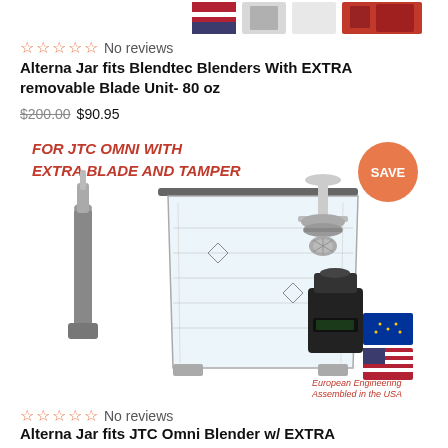[Figure (photo): Thumbnail images of blender products at the top of the page]
☆☆☆☆☆ No reviews
Alterna Jar fits Blendtec Blenders With EXTRA removable Blade Unit- 80 oz
$200.00 $90.95
[Figure (photo): Product image of Alterna Jar for JTC Omni with extra blade and tamper, showing a large clear blender jar, a gray tamper tool, a silver blade unit, and a black blender machine. Text overlay: FOR JTC OMNI WITH EXTRA BLADE AND TAMPER. Red SAVE badge. European Engineering Assembled in the USA caption.]
☆☆☆☆☆ No reviews
Alterna Jar fits JTC Omni Blender w/ EXTRA